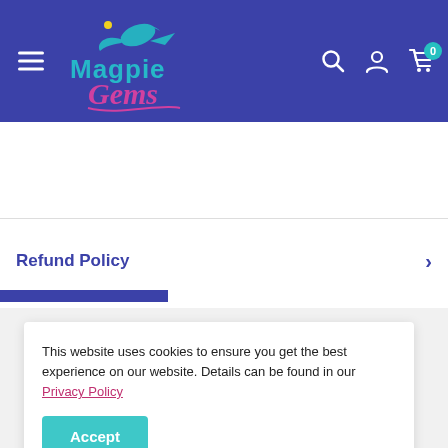[Figure (screenshot): Website navigation header with dark blue/purple background, hamburger menu icon on left, Magpie Gems logo in center-left, search icon, user icon, and cart icon with badge showing 0 on the right.]
Estimate
Refund Policy
This website uses cookies to ensure you get the best experience on our website. Details can be found in our Privacy Policy
Accept